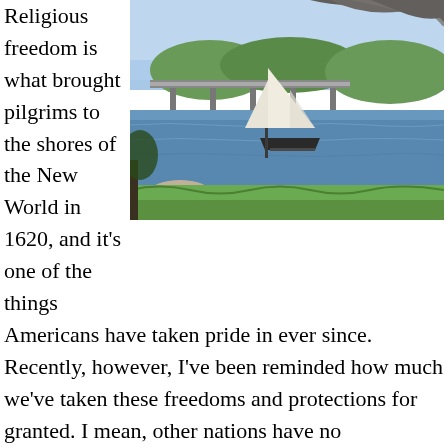Religious freedom is what brought pilgrims to the shores of the New World in 1620, and it's one of the things
[Figure (photo): A sailing vessel with white sails on a calm river or bay, with a bridge in the background and trees framing the top of the image, green grass in the foreground.]
Americans have taken pride in ever since. Recently, however, I've been reminded how much we've taken these freedoms and protections for granted. I mean, other nations have no protections in their government for freedom of expression of religion, and in many places it's actually the government that prohibits it.
Second, I've noticed a lot of people proclaiming it's the